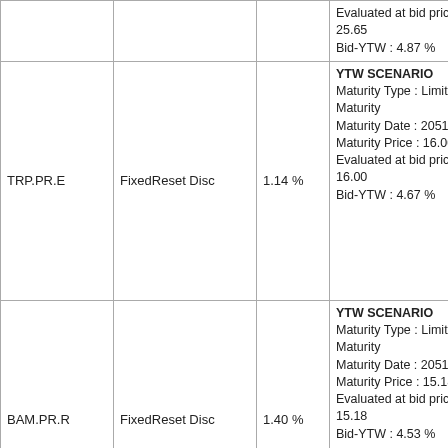| Ticker | Type | Pct | YTW Info |
| --- | --- | --- | --- |
|  |  |  | Evaluated at bid price : 25.65
Bid-YTW : 4.87 % |
| TRP.PR.E | FixedReset Disc | 1.14 % | YTW SCENARIO
Maturity Type : Limit Maturity
Maturity Date : 2051-01-26
Maturity Price : 16.00
Evaluated at bid price : 16.00
Bid-YTW : 4.67 % |
| BAM.PR.R | FixedReset Disc | 1.40 % | YTW SCENARIO
Maturity Type : Limit Maturity
Maturity Date : 2051-01-26
Maturity Price : 15.18
Evaluated at bid price : 15.18
Bid-YTW : 4.53 % |
| TRP.PR.D | FixedReset Disc | 1.48 % | YTW SCENARIO
Maturity Type : Limit Maturity
Maturity Date : 2051-01-26
Maturity Price : 16.45
Evaluated at bid price : 16.45
Bid-YTW : 4.57 % |
| PWF.PR.P | FixedReset Disc | 1.84 % | YTW SCENARIO
Maturity Type : Limit Maturity
Maturity Date : 2051-01-26
Maturity Price : 12.76
Evaluated at bid price : 12.76
Bid-YTW : 3.00 % |